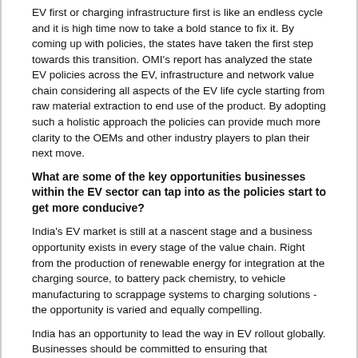EV first or charging infrastructure first is like an endless cycle and it is high time now to take a bold stance to fix it. By coming up with policies, the states have taken the first step towards this transition. OMI's report has analyzed the state EV policies across the EV, infrastructure and network value chain considering all aspects of the EV life cycle starting from raw material extraction to end use of the product. By adopting such a holistic approach the policies can provide much more clarity to the OEMs and other industry players to plan their next move.
What are some of the key opportunities businesses within the EV sector can tap into as the policies start to get more conducive?
India's EV market is still at a nascent stage and a business opportunity exists in every stage of the value chain. Right from the production of renewable energy for integration at the charging source, to battery pack chemistry, to vehicle manufacturing to scrappage systems to charging solutions - the opportunity is varied and equally compelling.
India has an opportunity to lead the way in EV rollout globally. Businesses should be committed to ensuring that interventions are best fitted to serve the Indian context and should not shy away from deployment of creative solutions.
Carson Dalton is Senior Director, Ola Mobility Institute, a